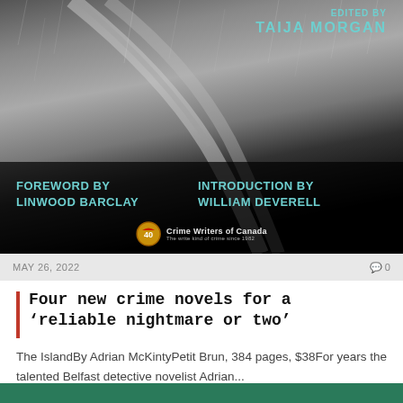[Figure (photo): Book cover image showing wet road with tire tracks in rain, dark atmospheric photo. Text overlay: 'Edited by Taija Morgan', 'Foreword by Linwood Barclay', 'Introduction by William Deverell', Crime Writers of Canada 40th anniversary logo.]
MAY 26, 2022
0
Four new crime novels for a ‘reliable nightmare or two’
The IslandBy Adrian McKintyPetit Brun, 384 pages, $38For years the talented Belfast detective novelist Adrian...